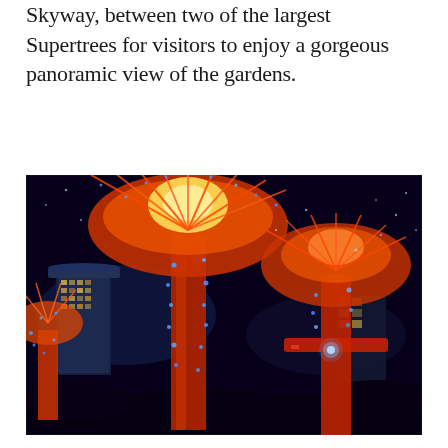Skyway, between two of the largest Supertrees for visitors to enjoy a gorgeous panoramic view of the gardens.
[Figure (photo): Nighttime photo of illuminated Supertrees at Gardens by the Bay, Singapore. Large tree-like structures glow in red, orange, and blue light. Marina Bay Sands hotel visible in background left. Blue dot lights cover the trunk structures against a dark night sky.]